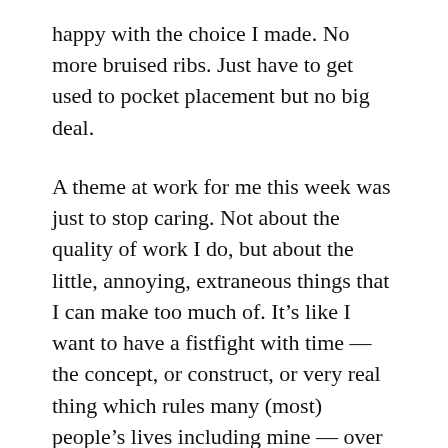happy with the choice I made. No more bruised ribs. Just have to get used to pocket placement but no big deal.
A theme at work for me this week was just to stop caring. Not about the quality of work I do, but about the little, annoying, extraneous things that I can make too much of. It's like I want to have a fistfight with time — the concept, or construct, or very real thing which rules many (most) people's lives including mine — over not being home earlier. I can't care about it when I'm at work because it makes me super anxious, like wound up tight, and it's another challenge in itself to get unwound. So maybe not such a little